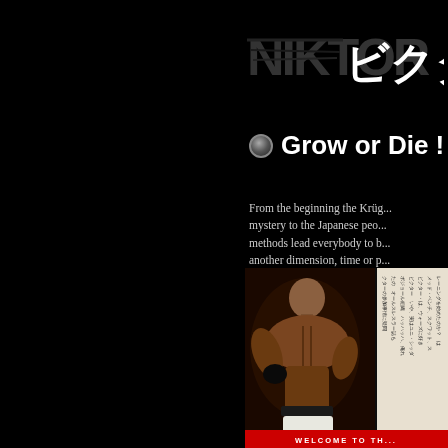[Figure (logo): Grunge-style 'NIKTOR' text logo with Japanese katakana 'ビクタ' in white on dark background]
● Grow or Die !
From the beginning the Krüg... mystery to the Japanese peo... methods lead everybody to b... another dimension, time or p...
[Figure (photo): Muscular male athlete/bodybuilder with Japanese text column on right side and red banner reading 'WELCOME TO TH...' at bottom]